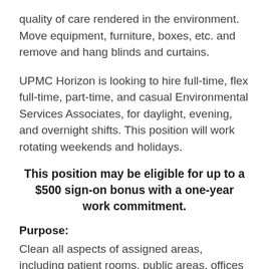quality of care rendered in the environment. Move equipment, furniture, boxes, etc. and remove and hang blinds and curtains.
UPMC Horizon is looking to hire full-time, flex full-time, part-time, and casual Environmental Services Associates, for daylight, evening, and overnight shifts. This position will work rotating weekends and holidays.
This position may be eligible for up to a $500 sign-on bonus with a one-year work commitment.
Purpose:
Clean all aspects of assigned areas, including patient rooms, public areas, offices and equipment, to meet Hospital and Department standards in order to promote the quality of care rendered in the environment. Move equipment, furniture, boxes,